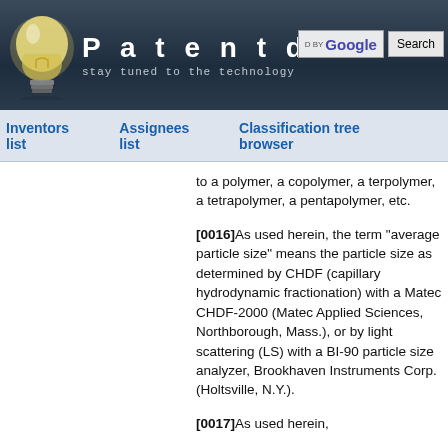Patentdocs — stay tuned to the technology
Inventors list   Assignees list   Classification tree browser
to a polymer, a copolymer, a terpolymer, a tetrapolymer, a pentapolymer, etc.
[0016]As used herein, the term "average particle size" means the particle size as determined by CHDF (capillary hydrodynamic fractionation) with a Matec CHDF-2000 (Matec Applied Sciences, Northborough, Mass.), or by light scattering (LS) with a BI-90 particle size analyzer, Brookhaven Instruments Corp. (Holtsville, N.Y.).
[0017]As used herein,